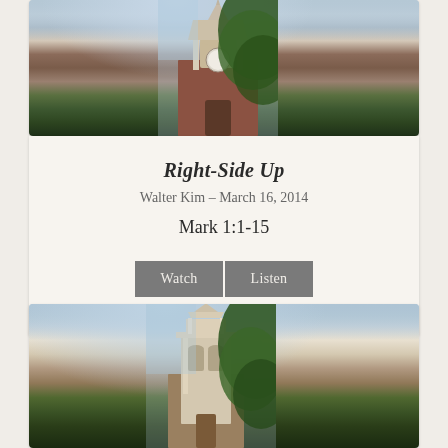[Figure (photo): Photograph of a red brick church with a white steeple/bell tower, partially obscured by large green trees, taken from a low angle looking up. Blue sky visible in background.]
Right-Side Up
Walter Kim - March 16, 2014
Mark 1:1-15
Watch   Listen
[Figure (photo): Second photograph of a white church steeple with a pointed spire, tall multi-tiered tower, with dense green tree foliage visible to the right. Pale blue sky background.]